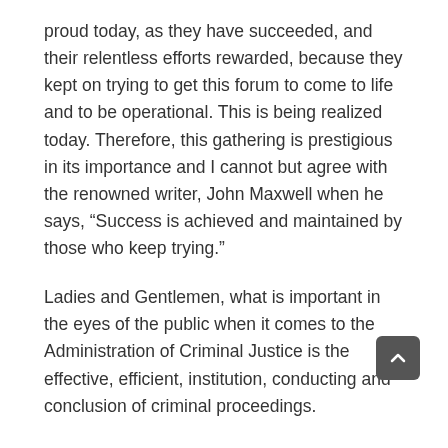proud today, as they have succeeded, and their relentless efforts rewarded, because they kept on trying to get this forum to come to life and to be operational. This is being realized today. Therefore, this gathering is prestigious in its importance and I cannot but agree with the renowned writer, John Maxwell when he says, “Success is achieved and maintained by those who keep trying.”
Ladies and Gentlemen, what is important in the eyes of the public when it comes to the Administration of Criminal Justice is the effective, efficient, institution, conducting and conclusion of criminal proceedings.
The major constraint in this undertaking currently and which undermines the promotion and achievement of justice in our country is that all the stakeholders who are involved in the justice system are operating in isolation. There is no coherence in decision making and each office operates separately and without any cooperation and without any mandate to the end of the